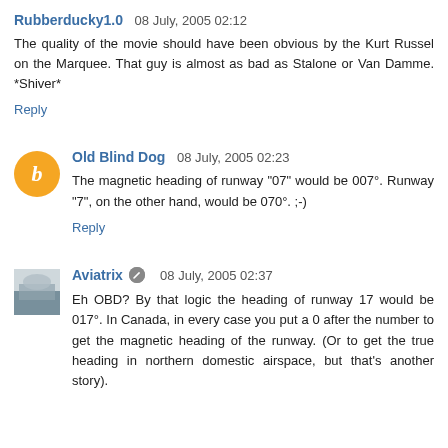Rubberducky1.0  08 July, 2005 02:12
The quality of the movie should have been obvious by the Kurt Russel on the Marquee. That guy is almost as bad as Stalone or Van Damme. *Shiver*
Reply
Old Blind Dog  08 July, 2005 02:23
The magnetic heading of runway "07" would be 007°. Runway "7", on the other hand, would be 070°. ;-)
Reply
Aviatrix  08 July, 2005 02:37
Eh OBD? By that logic the heading of runway 17 would be 017°. In Canada, in every case you put a 0 after the number to get the magnetic heading of the runway. (Or to get the true heading in northern domestic airspace, but that's another story).